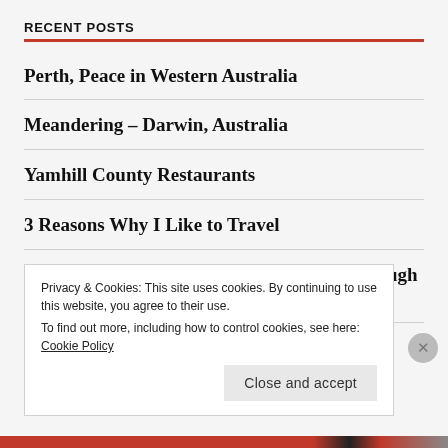RECENT POSTS
Perth, Peace in Western Australia
Meandering – Darwin, Australia
Yamhill County Restaurants
3 Reasons Why I Like to Travel
Ramble at Gold Creek Pond — Travels Through My Lens
Privacy & Cookies: This site uses cookies. By continuing to use this website, you agree to their use. To find out more, including how to control cookies, see here: Cookie Policy
Close and accept